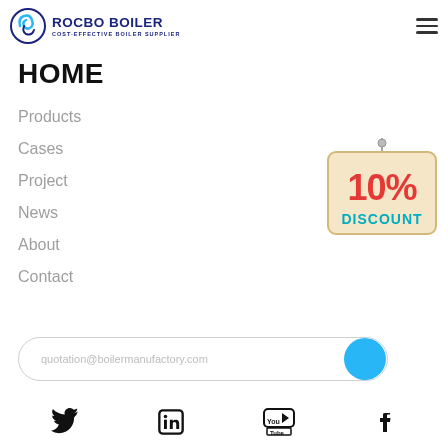[Figure (logo): Rocbo Boiler logo with circular swirl icon and text 'ROCBO BOILER / COST-EFFECTIVE BOILER SUPPLIER']
HOME
Products
Cases
Project
News
About
Contact
[Figure (illustration): 10% DISCOUNT hanging sign badge]
quotation@boilermanufactory.com
[Figure (infographic): Social media icons row: Twitter, LinkedIn, YouTube, Facebook]